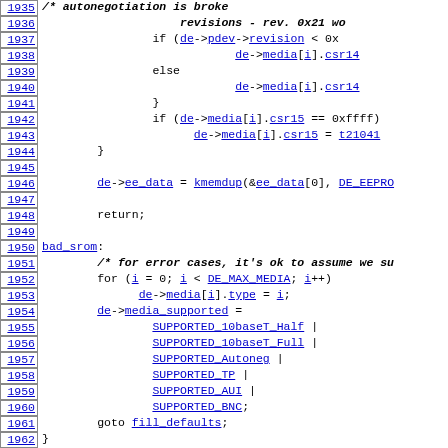[Figure (screenshot): Source code listing showing C code for network driver, lines 1935-1964+, with line numbers in left column and code in right column. Contains hyperlinked identifiers in blue underline.]